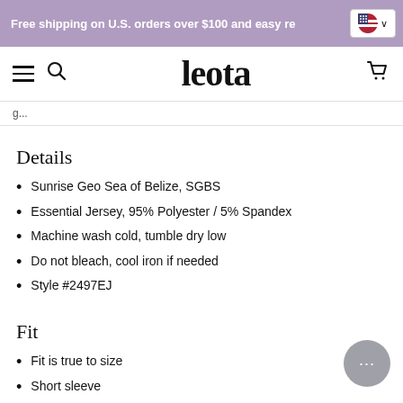Free shipping on U.S. orders over $100 and easy re...
leota
g...
Details
Sunrise Geo Sea of Belize, SGBS
Essential Jersey, 95% Polyester / 5% Spandex
Machine wash cold, tumble dry low
Do not bleach, cool iron if needed
Style #2497EJ
Fit
Fit is true to size
Short sleeve
Round neckline